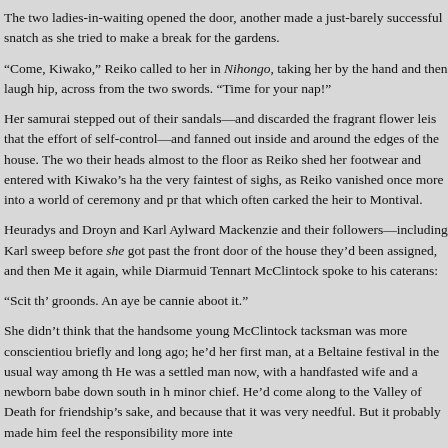The two ladies-in-waiting opened the door, another made a just-barely successful snatch as she tried to make a break for the gardens.
“Come, Kiwako,” Reiko called to her in Nihongo, taking her by the hand and then laughing hip, across from the two swords. “Time for your nap!”
Her samurai stepped out of their sandals—and discarded the fragrant flower leis that the effort of self-control—and fanned out inside and around the edges of the house. The wo their heads almost to the floor as Reiko shed her footwear and entered with Kiwako’s ha the very faintest of sighs, as Reiko vanished once more into a world of ceremony and pr that which often carked the heir to Montival.
Heuradys and Droyn and Karl Aylward Mackenzie and their followers—including Karl sweep before she got past the front door of the house they’d been assigned, and then Me it again, while Diarmuid Tennart McClintock spoke to his caterans:
“Scit th’ groonds. An aye be cannie aboot it.”
She didn’t think that the handsome young McClintock tacksman was more conscientiou briefly and long ago; he’d her first man, at a Beltaine festival in the usual way among th He was a settled man now, with a handfasted wife and a newborn babe down south in h minor chief. He’d come along to the Valley of Death for friendship’s sake, and because that it was very needful. But it probably made him feel the responsibility more inte